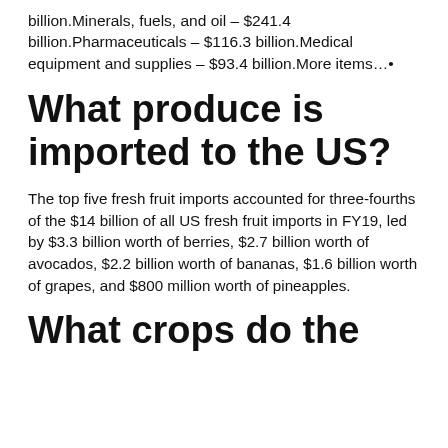billion.Minerals, fuels, and oil – $241.4 billion.Pharmaceuticals – $116.3 billion.Medical equipment and supplies – $93.4 billion.More items…•
What produce is imported to the US?
The top five fresh fruit imports accounted for three-fourths of the $14 billion of all US fresh fruit imports in FY19, led by $3.3 billion worth of berries, $2.7 billion worth of avocados, $2.2 billion worth of bananas, $1.6 billion worth of grapes, and $800 million worth of pineapples.
What crops do the